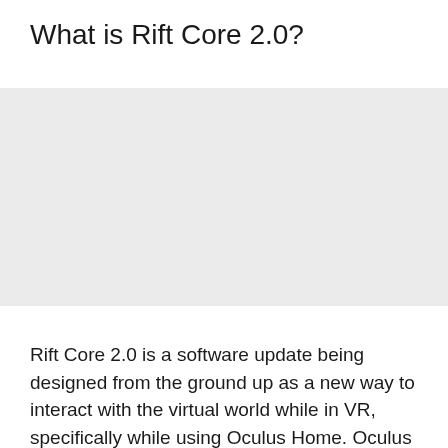What is Rift Core 2.0?
[Figure (photo): Grey placeholder image area for Rift Core 2.0 screenshot or illustration]
Rift Core 2.0 is a software update being designed from the ground up as a new way to interact with the virtual world while in VR, specifically while using Oculus Home. Oculus Touch controllers have changed how we use our Rift, and the interface